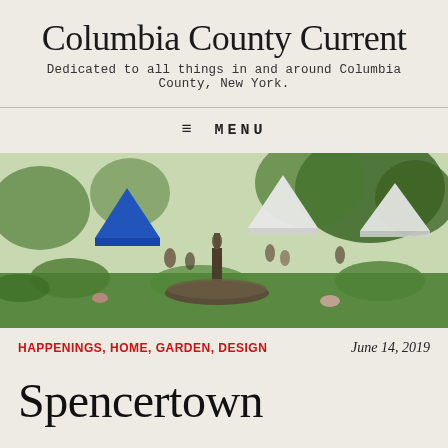Columbia County Current
Dedicated to all things in and around Columbia County, New York.
≡  MENU
[Figure (photo): Outdoor market or fair scene with a stone fountain in the foreground, blue and white tents in the background, people browsing vendors among lush green gardens and trees.]
HAPPENINGS, HOME, GARDEN, DESIGN
June 14, 2019
Spencertown